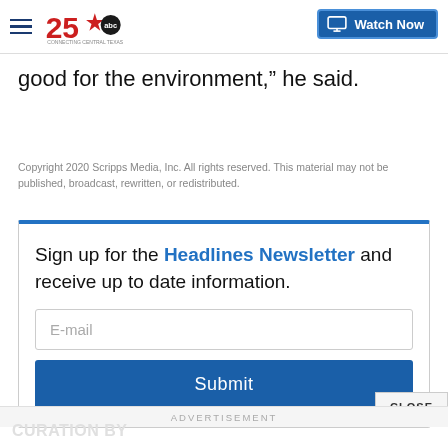25 ABC - Connecting Central Texas | Watch Now
good for the environment,” he said.
Copyright 2020 Scripps Media, Inc. All rights reserved. This material may not be published, broadcast, rewritten, or redistributed.
Sign up for the Headlines Newsletter and receive up to date information.
E-mail
Submit
CLOSE
ADVERTISEMENT
CURATION BY